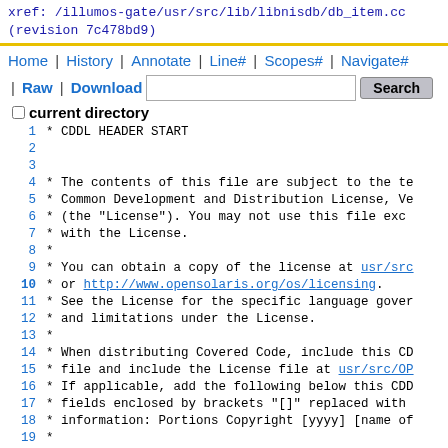xref: /illumos-gate/usr/src/lib/libnisdb/db_item.cc
(revision 7c478bd9)
Home | History | Annotate | Line# | Scopes# | Navigate# | Raw | Download  [search box] Search  current directory
1  * CDDL HEADER START
2  (blank)
3  current directory
4    * The contents of this file are subject to the te
5    * Common Development and Distribution License, Ve
6    * (the "License").  You may not use this file exc
7    * with the License.
8    *
9    * You can obtain a copy of the license at usr/src
10   * or http://www.opensolaris.org/os/licensing.
11   * See the License for the specific language gover
12   * and limitations under the License.
13   *
14   * When distributing Covered Code, include this CD
15   * file and include the License file at usr/src/OP
16   * If applicable, add the following below this CDD
17   * fields enclosed by brackets "[]" replaced with
18   * information: Portions Copyright [yyyy] [name of
19   *
20   * CDDL HEADER END
21   */
22   /*
23   *        db_item.cc
24   *
25   *        Copyright (c) 1988-2000 by Sun Microsyste